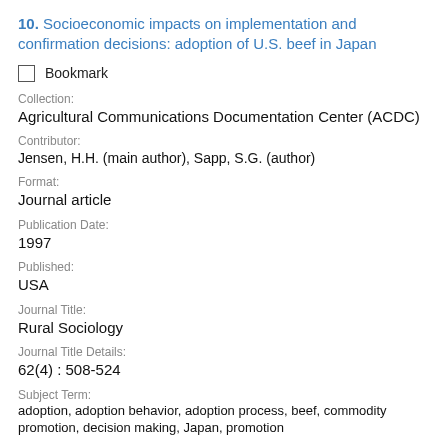10. Socioeconomic impacts on implementation and confirmation decisions: adoption of U.S. beef in Japan
Bookmark
Collection:
Agricultural Communications Documentation Center (ACDC)
Contributor:
Jensen, H.H. (main author), Sapp, S.G. (author)
Format:
Journal article
Publication Date:
1997
Published:
USA
Journal Title:
Rural Sociology
Journal Title Details:
62(4) : 508-524
Subject Term:
adoption, adoption behavior, adoption process, beef, commodity promotion, decision making, Japan, promotion